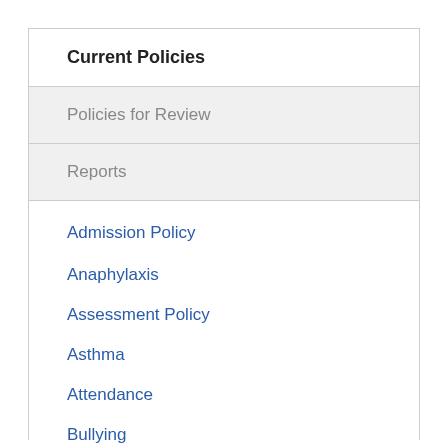Current Policies
Policies for Review
Reports
Admission Policy
Anaphylaxis
Assessment Policy
Asthma
Attendance
Bullying
Bullying Awareness
Cyber Safety